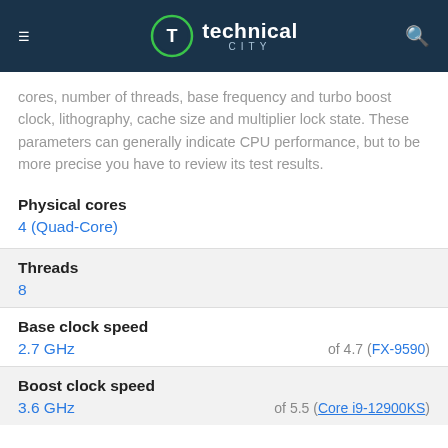technical city
cores, number of threads, base frequency and turbo boost clock, lithography, cache size and multiplier lock state. These parameters can generally indicate CPU performance, but to be more precise you have to review its test results.
Physical cores
4 (Quad-Core)
Threads
8
Base clock speed
2.7 GHz    of 4.7 (FX-9590)
Boost clock speed
3.6 GHz    of 5.5 (Core i9-12900KS)